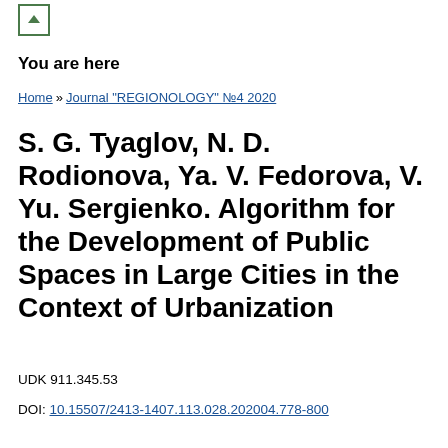[Figure (other): Small green icon with upward arrow in a square box]
You are here
Home » Journal "REGIONOLOGY" №4 2020
S. G. Tyaglov, N. D. Rodionova, Ya. V. Fedorova, V. Yu. Sergienko. Algorithm for the Development of Public Spaces in Large Cities in the Context of Urbanization
UDK 911.345.53
DOI: 10.15507/2413-1407.113.028.202004.778-800